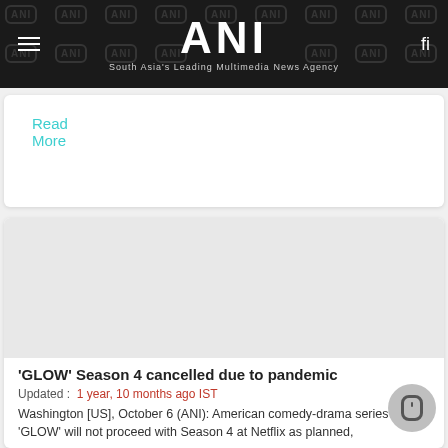ANI — South Asia's Leading Multimedia News Agency
Read More
[Figure (photo): Placeholder image area for an article thumbnail]
'GLOW' Season 4 cancelled due to pandemic
Updated : 1 year, 10 months ago IST
Washington [US], October 6 (ANI): American comedy-drama series 'GLOW' will not proceed with Season 4 at Netflix as planned,